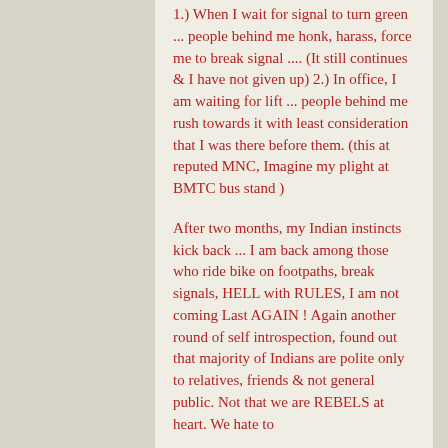1.) When I wait for signal to turn green ... people behind me honk, harass, force me to break signal .... (It still continues & I have not given up) 2.) In office, I am waiting for lift ... people behind me rush towards it with least consideration that I was there before them. (this at reputed MNC, Imagine my plight at BMTC bus stand )
After two months, my Indian instincts kick back ... I am back among those who ride bike on footpaths, break signals, HELL with RULES, I am not coming Last AGAIN ! Again another round of self introspection, found out that majority of Indians are polite only to relatives, friends & not general public. Not that we are REBELS at heart. We hate to